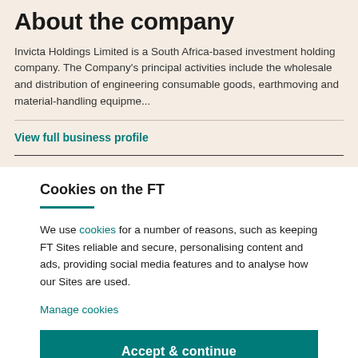About the company
Invicta Holdings Limited is a South Africa-based investment holding company. The Company's principal activities include the wholesale and distribution of engineering consumable goods, earthmoving and material-handling equipme...
View full business profile
Cookies on the FT
We use cookies for a number of reasons, such as keeping FT Sites reliable and secure, personalising content and ads, providing social media features and to analyse how our Sites are used.
Manage cookies
Accept & continue